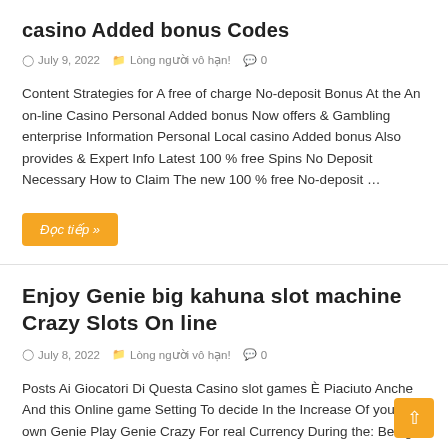casino Added bonus Codes
July 9, 2022   Lòng người vô hạn!   0
Content Strategies for A free of charge No-deposit Bonus At the An on-line Casino Personal Added bonus Now offers & Gambling enterprise Information Personal Local casino Added bonus Also provides & Expert Info Latest 100 % free Spins No Deposit Necessary How to Claim The new 100 % free No-deposit …
Đọc tiếp »
Enjoy Genie big kahuna slot machine Crazy Slots On line
July 8, 2022   Lòng người vô hạn!   0
Posts Ai Giocatori Di Questa Casino slot games È Piaciuto Anche And this Online game Setting To decide In the Increase Of your own Genie Play Genie Crazy For real Currency During the: Being a modern video slot, Aladdin plus the Insane Genie gives the entire package. Totally free spins, …